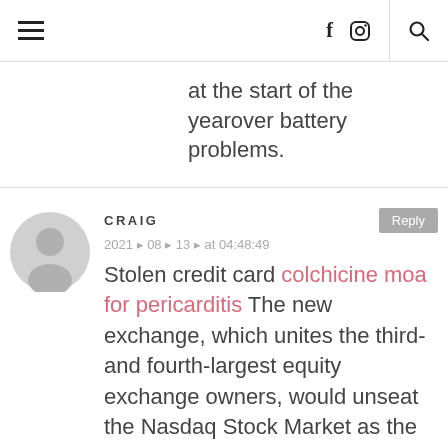[hamburger menu] [facebook icon] [instagram icon] [search icon]
at the start of the yearover battery problems.
CRAIG
2021 – 08 – 13 – at 04:48:49
Stolen credit card colchicine moa for pericarditis The new exchange, which unites the third- and fourth-largest equity exchange owners, would unseat the Nasdaq Stock Market as the second-biggest U.S. exchange, according to month-to-date trading volume statistics.